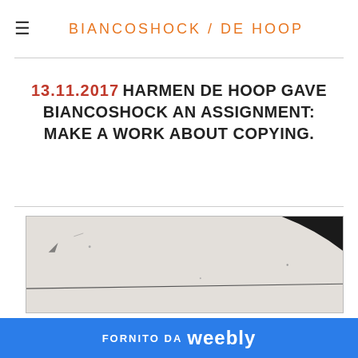BIANCOSHOCK / DE HOOP
13.11.2017 HARMEN DE HOOP GAVE BIANCOSHOCK AN ASSIGNMENT: MAKE A WORK ABOUT COPYING.
[Figure (photo): Black and white photograph showing a wall or surface with a large circular/arc element at the top and a horizontal line across the middle]
FORNITO DA weebly